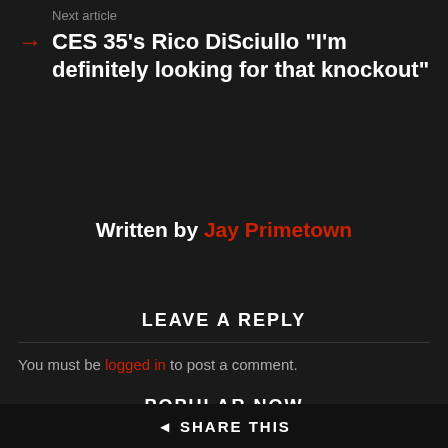Next article
CES 35's Rico DiSciullo “I’m definitely looking for that knockout”
Written by Jay Primetown
LEAVE A REPLY
You must be logged in to post a comment.
POPULAR NOW
Big Marley's UFC Paris Draft Kings Fantasy Breakdown
SHARE THIS